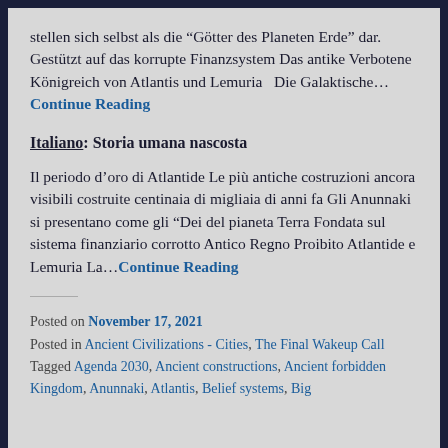stellen sich selbst als die „Götter des Planeten Erde“ dar. Gestützt auf das korrupte Finanzsystem Das antike Verbotene Königreich von Atlantis und Lemuria   Die Galaktische…Continue Reading
Italiano: Storia umana nascosta
Il periodo d’oro di Atlantide Le più antiche costruzioni ancora visibili costruite centinaia di migliaia di anni fa Gli Anunnaki si presentano come gli “Dei del pianeta Terra Fondata sul sistema finanziario corrotto Antico Regno Proibito Atlantide e Lemuria La…Continue Reading
Posted on November 17, 2021
Posted in Ancient Civilizations - Cities, The Final Wakeup Call
Tagged Agenda 2030, Ancient constructions, Ancient forbidden Kingdom, Anunnaki, Atlantis, Belief systems, Big